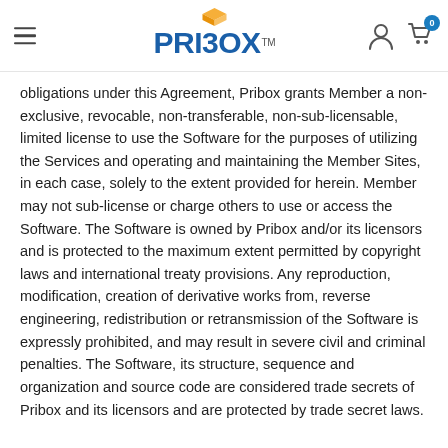PRIBOX
obligations under this Agreement, Pribox grants Member a non-exclusive, revocable, non-transferable, non-sub-licensable, limited license to use the Software for the purposes of utilizing the Services and operating and maintaining the Member Sites, in each case, solely to the extent provided for herein. Member may not sub-license or charge others to use or access the Software. The Software is owned by Pribox and/or its licensors and is protected to the maximum extent permitted by copyright laws and international treaty provisions. Any reproduction, modification, creation of derivative works from, reverse engineering, redistribution or retransmission of the Software is expressly prohibited, and may result in severe civil and criminal penalties. The Software, its structure, sequence and organization and source code are considered trade secrets of Pribox and its licensors and are protected by trade secret laws.